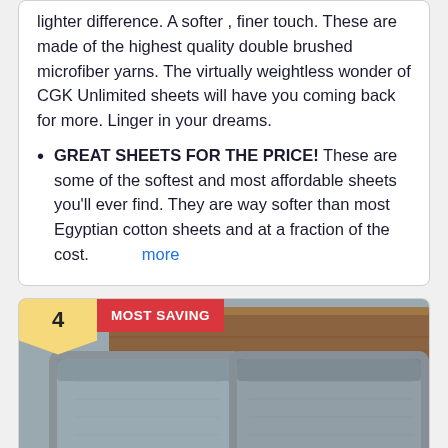lighter difference. A softer , finer touch. These are made of the highest quality double brushed microfiber yarns. The virtually weightless wonder of CGK Unlimited sheets will have you coming back for more. Linger in your dreams.
GREAT SHEETS FOR THE PRICE! These are some of the softest and most affordable sheets you'll ever find. They are way softer than most Egyptian cotton sheets and at a fraction of the cost.    more
[Figure (photo): Product image showing grey bed pillows/sheets on a wooden bed frame headboard, with a number 4 badge and 'MOST SAVING' label overlay]